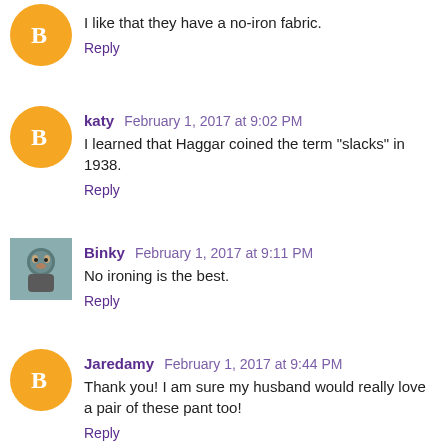I like that they have a no-iron fabric.
Reply
katy February 1, 2017 at 9:02 PM
I learned that Haggar coined the term "slacks" in 1938.
Reply
Binky February 1, 2017 at 9:11 PM
No ironing is the best.
Reply
Jaredamy February 1, 2017 at 9:44 PM
Thank you! I am sure my husband would really love a pair of these pant too!
Reply